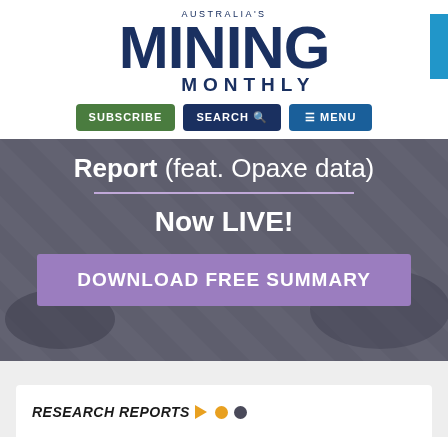AUSTRALIA'S MINING MONTHLY
SUBSCRIBE | SEARCH | MENU
Report (feat. Opaxe data)
Now LIVE!
DOWNLOAD FREE SUMMARY
RESEARCH REPORTS